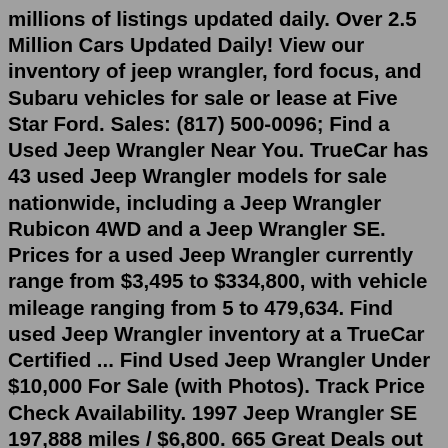millions of listings updated daily. Over 2.5 Million Cars Updated Daily! View our inventory of jeep wrangler, ford focus, and Subaru vehicles for sale or lease at Five Star Ford. Sales: (817) 500-0096; Find a Used Jeep Wrangler Near You. TrueCar has 43 used Jeep Wrangler models for sale nationwide, including a Jeep Wrangler Rubicon 4WD and a Jeep Wrangler SE. Prices for a used Jeep Wrangler currently range from $3,495 to $334,800, with vehicle mileage ranging from 5 to 479,634. Find used Jeep Wrangler inventory at a TrueCar Certified ... Find Used Jeep Wrangler Under $10,000 For Sale (with Photos). Track Price Check Availability. 1997 Jeep Wrangler SE 197,888 miles / $6,800. 665 Great Deals out of 10,475 listings starting at $3,296. Find great deals on new and used Jeep Wrangler Unlimiteds for sale in the United States from trusted dealers in Indiana (IN). GetAuto has millions of listings updated daily. Over 2.5 Million Cars Updated Daily! 292 Used Jeep Wrangler cars for sale with prices starting at $499. Data-driven analysis of one less of one and specifically the product f